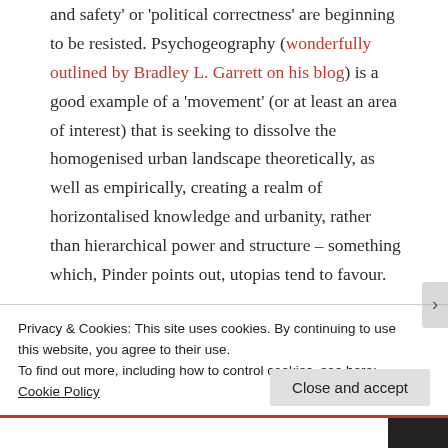and safety' or 'political correctness' are beginning to be resisted. Psychogeography (wonderfully outlined by Bradley L. Garrett on his blog) is a good example of a 'movement' (or at least an area of interest) that is seeking to dissolve the homogenised urban landscape theoretically, as well as empirically, creating a realm of horizontalised knowledge and urbanity, rather than hierarchical power and structure – something which, Pinder points out, utopias tend to favour.
Privacy & Cookies: This site uses cookies. By continuing to use this website, you agree to their use.
To find out more, including how to control cookies, see here: Cookie Policy
Close and accept